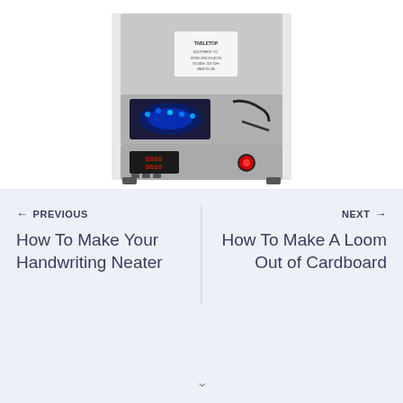[Figure (photo): Photo of a tabletop soldering or heating machine with stainless steel casing, blue glowing component visible, red digital display panel at the front, red power switch on the side, wiring visible, and a TABLETOP label sticker on the front panel.]
← PREVIOUS
How To Make Your Handwriting Neater
NEXT →
How To Make A Loom Out of Cardboard